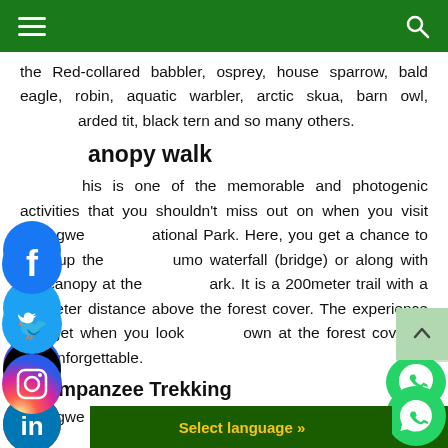Navigation bar with hamburger menu and search icon
the Red-collared babbler, osprey, house sparrow, bald eagle, robin, aquatic warbler, arctic skua, barn owl, bearded tit, black tern and so many others.
Canopy walk
This is one of the memorable and photogenic activities that you shouldn't miss out on when you visit Nyungwe National Park. Here, you get a chance to walk up the Sumo waterfall (bridge) or along with the canopy at the park. It is a 200meter trail with a 50-meter distance above the forest cover. The experience you get when you look down at the forest cover is just unforgettable.
Chimpanzee Trekking
Nyungwe Forest National Park i...